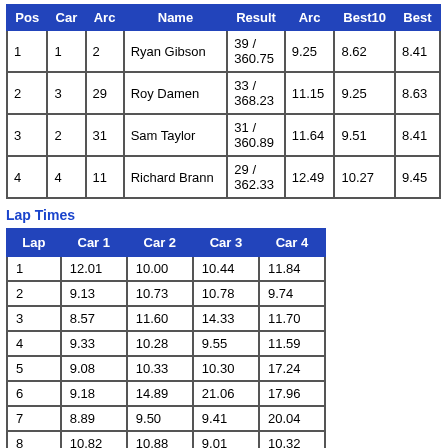| Pos | Car | Arc | Name | Result | Arc | Best10 | Best |
| --- | --- | --- | --- | --- | --- | --- | --- |
| 1 | 1 | 2 | Ryan Gibson | 39 / 360.75 | 9.25 | 8.62 | 8.41 |
| 2 | 3 | 29 | Roy Damen | 33 / 368.23 | 11.15 | 9.25 | 8.63 |
| 3 | 2 | 31 | Sam Taylor | 31 / 360.89 | 11.64 | 9.51 | 8.41 |
| 4 | 4 | 11 | Richard Brann | 29 / 362.33 | 12.49 | 10.27 | 9.45 |
Lap Times
| Lap | Car 1 | Car 2 | Car 3 | Car 4 |
| --- | --- | --- | --- | --- |
| 1 | 12.01 | 10.00 | 10.44 | 11.84 |
| 2 | 9.13 | 10.73 | 10.78 | 9.74 |
| 3 | 8.57 | 11.60 | 14.33 | 11.70 |
| 4 | 9.33 | 10.28 | 9.55 | 11.59 |
| 5 | 9.08 | 10.33 | 10.30 | 17.24 |
| 6 | 9.18 | 14.89 | 21.06 | 17.96 |
| 7 | 8.89 | 9.50 | 9.41 | 20.04 |
| 8 | 10.82 | 10.88 | 9.01 | 10.32 |